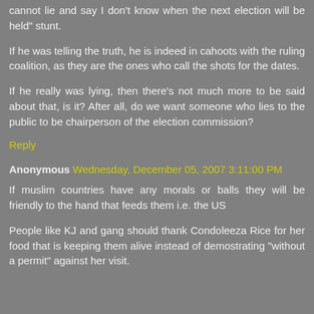cannot lie and say I don't know when the next election will be held" stunt.
If he was telling the truth, he is indeed in cahoots with the ruling coalition, as they are the ones who call the shots for the dates.
If he really was lying, then there's not much more to be said about that, is it? After all, do we want someone who lies to the public to be chairperson of the election commission?
Reply
Anonymous Wednesday, December 05, 2007 3:11:00 PM
If muslim countries have any morals or balls they will be friendly to the hand that feeds them i.e. the US
People like KJ and gang should thank Condoleeza Rice for her food that is keeping them alive instead of demostrating "without a permit" against her visit.